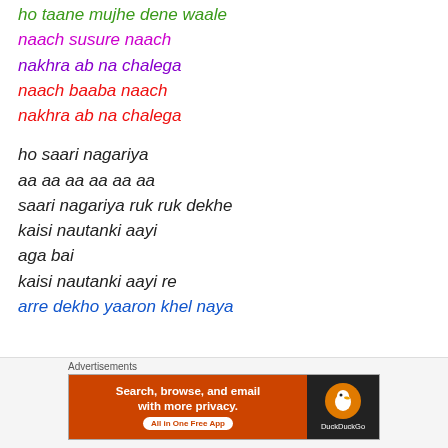ho taane mujhe dene waale
naach susure naach
nakhra ab na chalega
naach baaba naach
nakhra ab na chalega
ho saari nagariya
aa aa aa aa aa aa
saari nagariya ruk ruk dekhe
kaisi nautanki aayi
aga bai
kaisi nautanki aayi re
arre dekho yaaron khel naya
[Figure (screenshot): DuckDuckGo advertisement banner: 'Search, browse, and email with more privacy. All in One Free App' on orange background with DuckDuckGo logo on dark background.]